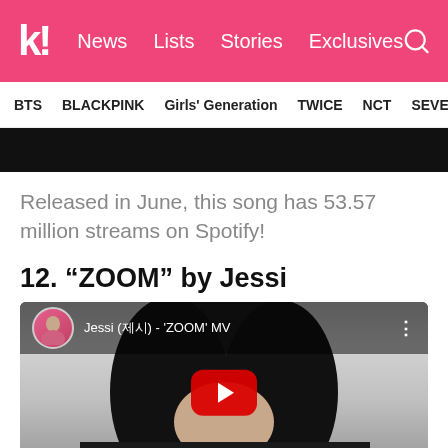k! News Lists Stories Exclusives
BTS BLACKPINK Girls' Generation TWICE NCT SEVE
[Figure (screenshot): Black video bar at top of article content]
Released in June, this song has 53.57 million streams on Spotify!
12. “ZOOM” by Jessi
[Figure (screenshot): YouTube embed showing Jessi (제시) - 'ZOOM' MV with a woman with dark hair and a red YouTube play button overlay]